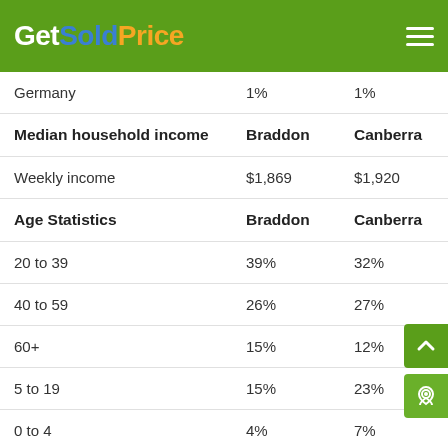GetSoldPrice
|  | Braddon | Canberra |
| --- | --- | --- |
| Germany | 1% | 1% |
| Median household income | Braddon | Canberra |
| Weekly income | $1,869 | $1,920 |
| Age Statistics | Braddon | Canberra |
| 20 to 39 | 39% | 32% |
| 40 to 59 | 26% | 27% |
| 60+ | 15% | 12% |
| 5 to 19 | 15% | 23% |
| 0 to 4 | 4% | 7% |
| Family Statistics - Top 5 | Braddon | Canberra |
| Never Married | 46% | 36% |